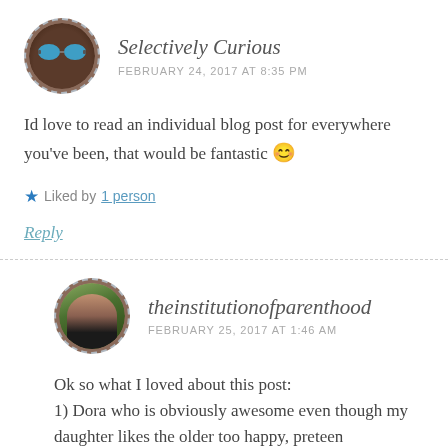[Figure (photo): Circular avatar of Selectively Curious user with blue mirrored sunglasses and dark skin, dashed border]
Selectively Curious
FEBRUARY 24, 2017 AT 8:35 PM
Id love to read an individual blog post for everywhere you've been, that would be fantastic 😊
★ Liked by 1 person
Reply
[Figure (photo): Circular avatar of theinstitutionofparenthood user, woman with dark hair in green outdoor background, dashed border]
theinstitutionofparenthood
FEBRUARY 25, 2017 AT 1:46 AM
Ok so what I loved about this post:
1) Dora who is obviously awesome even though my daughter likes the older too happy, preteen